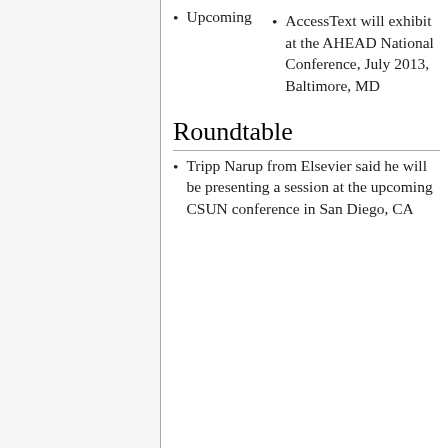Upcoming
AccessText will exhibit at the AHEAD National Conference, July 2013, Baltimore, MD
Roundtable
Tripp Narup from Elsevier said he will be presenting a session at the upcoming CSUN conference in San Diego, CA
This page was last edited on 10 March 2017, at 09:35.
Privacy policy · About AccessText Network Wiki · Disclaimers